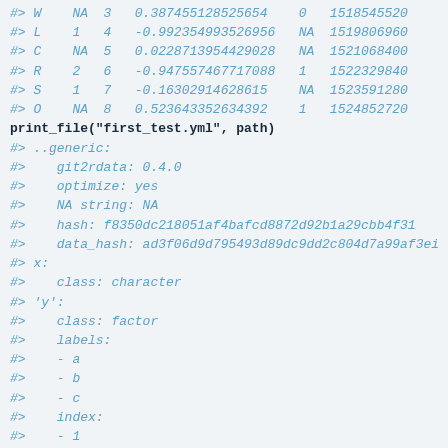#> W    NA  3   0.387455128525654    0   1518545520
#> L    1   4   -0.992354993526956   NA  1519806960
#> C    NA  5   0.0228713954429028   NA  1521068400
#> R    2   6   -0.947557467717088   1   1522329840
#> S    1   7   -0.16302914628615    NA  1523591280
#> O    NA  8   0.523643352634392    1   1524852720
print_file("first_test.yml", path)
#> ..generic:
#>    git2rdata: 0.4.0
#>    optimize: yes
#>    NA string: NA
#>    hash: f8350dc218051af4bafcd8872d92b1a29cbb4f31
#>    data_hash: ad3f06d9d795493d89dc9dd2c804d7a99af3ei
#> x:
#>    class: character
#> 'y':
#>    class: factor
#>    labels:
#>    - a
#>    - b
#>    - c
#>    index:
#>    - 1
#>    - 2